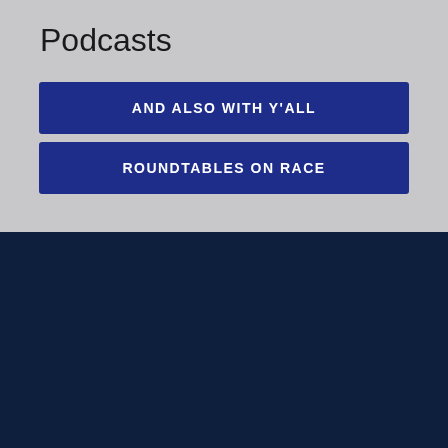Podcasts
AND ALSO WITH Y'ALL
ROUNDTABLES ON RACE
Contact Us
Privacy and Cookie Policy
Episcopal Diocese of North Carolina
300 West Morgan St, Suite 300